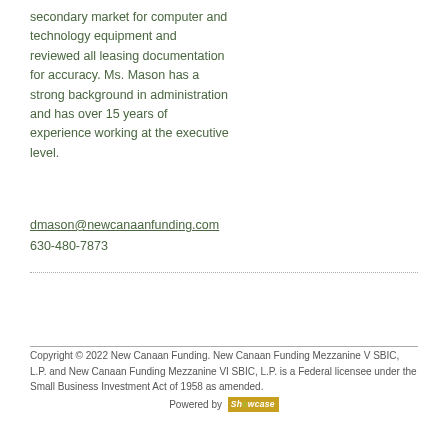secondary market for computer and technology equipment and reviewed all leasing documentation for accuracy. Ms. Mason has a strong background in administration and has over 15 years of experience working at the executive level.
dmason@newcanaanfunding.com
630-480-7873
Copyright © 2022 New Canaan Funding. New Canaan Funding Mezzanine V SBIC, L.P. and New Canaan Funding Mezzanine VI SBIC, L.P. is a Federal licensee under the Small Business Investment Act of 1958 as amended.
Powered by Showcase